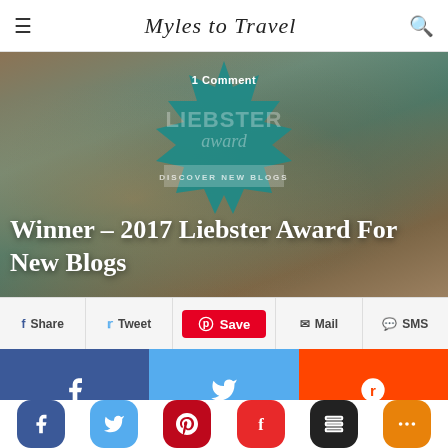Myles to Travel
[Figure (screenshot): Hero image for blog post showing a Liebster Award badge overlaid on a world map background. White text reads '1 Comment' and large title 'Winner – 2017 Liebster Award For New Blogs']
Winner – 2017 Liebster Award For New Blogs
[Figure (infographic): Social share bar with Share (Facebook), Tweet (Twitter), Save (Pinterest - red), Mail, and SMS buttons]
[Figure (infographic): Social sharing icon grid: Facebook (blue), Twitter (light blue), Reddit (orange) on top row; Pinterest (red), Email (black) on bottom row. Below: row of rounded social icons for Facebook, Twitter, Pinterest, Flipboard, Buffer, and More (+)]